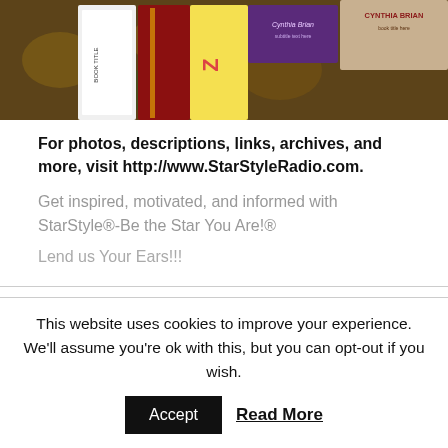[Figure (photo): Partial view of book covers and decorative fabric/cloth with floral pattern in the background. Books visible including ones by Cynthia Brian.]
For photos, descriptions, links, archives, and more, visit http://www.StarStyleRadio.com.
Get inspired, motivated, and informed with StarStyle®-Be the Star You Are!®
Lend us Your Ears!!!
This website uses cookies to improve your experience. We'll assume you're ok with this, but you can opt-out if you wish.